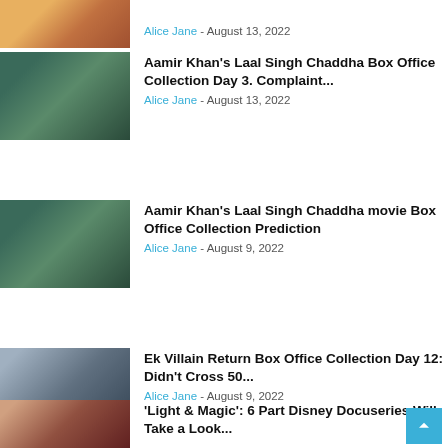[Figure (photo): Partial thumbnail of a movie/couple scene at top]
Alice Jane - August 13, 2022
[Figure (photo): Thumbnail of Aamir Khan in turban from Laal Singh Chaddha]
Aamir Khan's Laal Singh Chaddha Box Office Collection Day 3. Complaint...
Alice Jane - August 13, 2022
[Figure (photo): Thumbnail of Aamir Khan in turban from Laal Singh Chaddha]
Aamir Khan's Laal Singh Chaddha movie Box Office Collection Prediction
Alice Jane - August 9, 2022
[Figure (photo): Thumbnail of Ek Villain Return scene]
Ek Villain Return Box Office Collection Day 12: Didn't Cross 50...
Alice Jane - August 9, 2022
[Figure (photo): Partial thumbnail of Light & Magic docuseries]
'Light & Magic': 6 Part Disney Docuseries Will Take a Look...